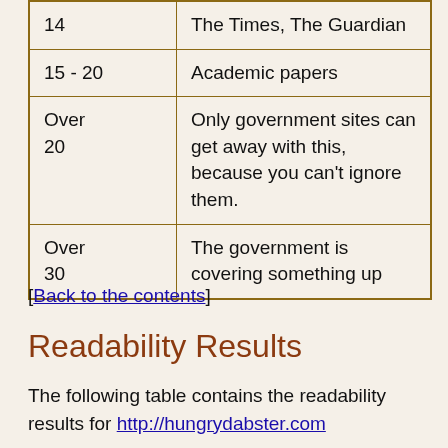| Score | Description |
| --- | --- |
| 14 | The Times, The Guardian |
| 15 - 20 | Academic papers |
| Over 20 | Only government sites can get away with this, because you can't ignore them. |
| Over 30 | The government is covering something up |
[Back to the contents]
Readability Results
The following table contains the readability results for http://hungrydabster.com